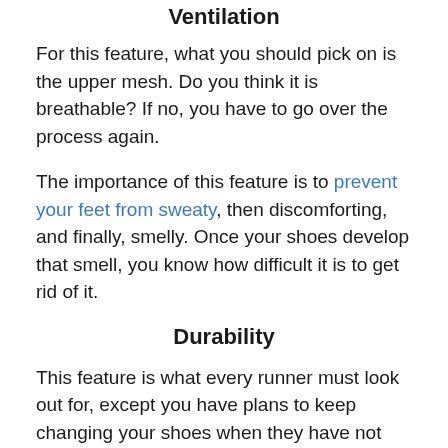Ventilation
For this feature, what you should pick on is the upper mesh. Do you think it is breathable? If no, you have to go over the process again.
The importance of this feature is to prevent your feet from sweaty, then discomforting, and finally, smelly. Once your shoes develop that smell, you know how difficult it is to get rid of it.
Durability
This feature is what every runner must look out for, except you have plans to keep changing your shoes when they have not